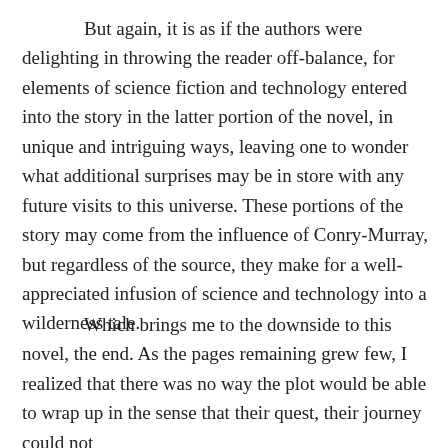But again, it is as if the authors were delighting in throwing the reader off-balance, for elements of science fiction and technology entered into the story in the latter portion of the novel, in unique and intriguing ways, leaving one to wonder what additional surprises may be in store with any future visits to this universe. These portions of the story may come from the influence of Conry-Murray, but regardless of the source, they make for a well-appreciated infusion of science and technology into a wilderness tale.
Which brings me to the downside to this novel, the end. As the pages remaining grew few, I realized that there was no way the plot would be able to wrap up in the sense that their quest, their journey could not